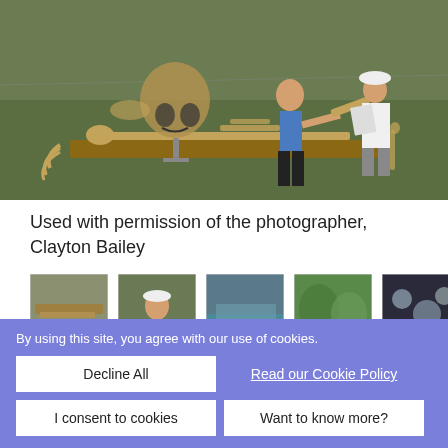[Figure (photo): Outdoor scene showing two people examining large skeletal remains and bones laid out on tables in a grassy field. A large skull sculpture and various bones are visible. One person in a blue tank top and black pants holds a large bone, another in white clothing holds papers.]
Used with permission of the photographer, Clayton Bailey
[Figure (photo): Thumbnail 1: outdoor scene with bones/skeletal remains on display]
[Figure (photo): Thumbnail 2: person in white hat and coat examining skeletal material]
[Figure (photo): Thumbnail 3: outdoor scene with water or natural setting]
[Figure (photo): Thumbnail 4: green foliage/plant scene]
[Figure (photo): Thumbnail 5: dark interior with spherical objects visible]
By using this site, you agree with our use of cookies.
Decline All
Read our Cookie Policy
I consent to cookies
Want to know more?